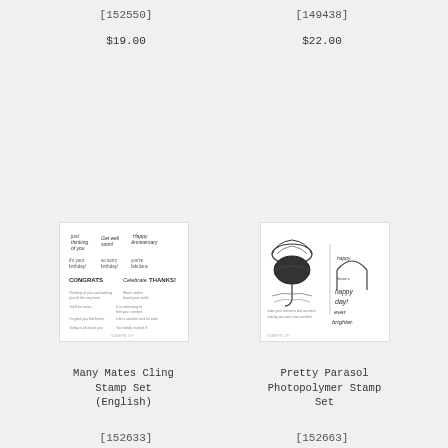[149438]
[152550]
$22.00
$19.00
[Figure (photo): Stamp set showing various greeting text stamps - Many Mates Cling Stamp Set]
[Figure (photo): Stamp set showing parasol/umbrella and decorative elements - Pretty Parasol Photopolymer Stamp Set]
Many Mates Cling Stamp Set (English)
Pretty Parasol Photopolymer Stamp Set
[152633]
[152663]